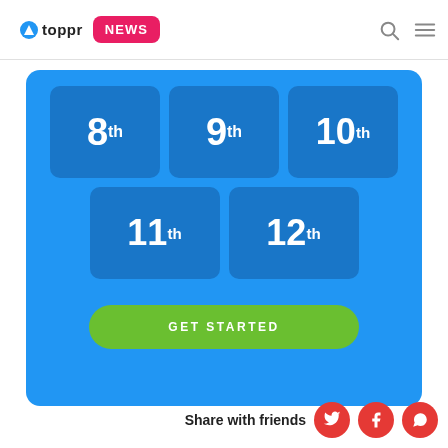toppr NEWS
[Figure (infographic): Blue panel with grade selector buttons: 8th, 9th, 10th (top row), 11th, 12th (bottom row), and a green GET STARTED button]
Share with friends